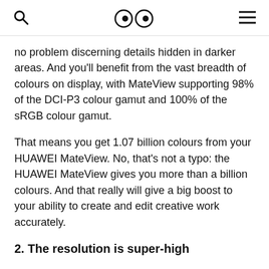🔍  👁👁  ≡
no problem discerning details hidden in darker areas. And you'll benefit from the vast breadth of colours on display, with MateView supporting 98% of the DCI-P3 colour gamut and 100% of the sRGB colour gamut.
That means you get 1.07 billion colours from your HUAWEI MateView. No, that's not a typo: the HUAWEI MateView gives you more than a billion colours. And that really will give a big boost to your ability to create and edit creative work accurately.
2. The resolution is super-high